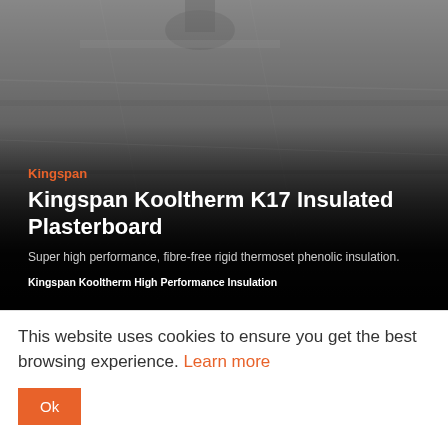[Figure (photo): Dark overhead photo of insulated ceiling/plasterboard installation with a gradient overlay fading to black at the bottom]
Kingspan
Kingspan Kooltherm K17 Insulated Plasterboard
Super high performance, fibre-free rigid thermoset phenolic insulation.
Kingspan Kooltherm High Performance Insulation
This website uses cookies to ensure you get the best browsing experience. Learn more
Ok